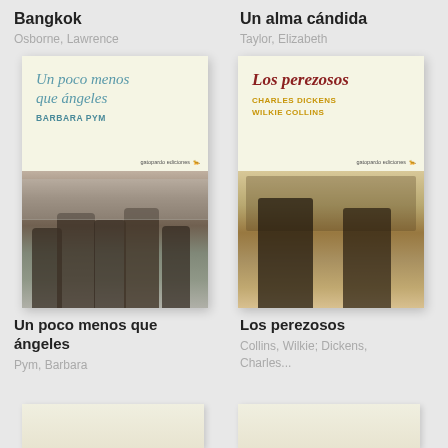Bangkok
Osborne, Lawrence
Un alma cándida
Taylor, Elizabeth
[Figure (photo): Book cover: Un poco menos que ángeles by Barbara Pym. Cream top with teal italic title and bold blue author name, bottom half is black and white photo of a group of people outdoors.]
[Figure (photo): Book cover: Los perezosos by Charles Dickens and Wilkie Collins. Cream top with dark red italic title and gold author names, bottom half is sepia photo of two men in Victorian dress seen from behind.]
Un poco menos que ángeles
Pym, Barbara
Los perezosos
Collins, Wilkie; Dickens, Charles...